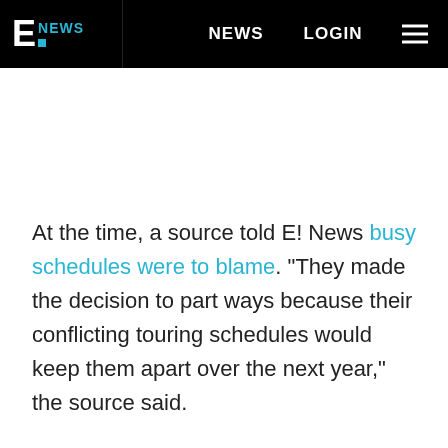E! NEWS | NEWS | LOGIN
At the time, a source told E! News busy schedules were to blame. "They made the decision to part ways because their conflicting touring schedules would keep them apart over the next year," the source said.
A second source reiterated that the two were amicable.